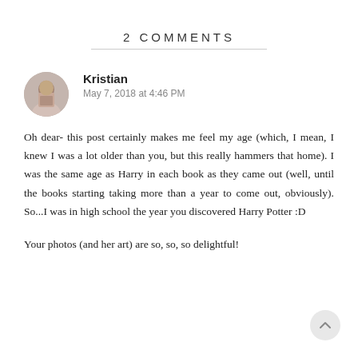2 COMMENTS
[Figure (photo): Circular avatar photo of user Kristian showing a person in patterned clothing]
Kristian
May 7, 2018 at 4:46 PM
Oh dear- this post certainly makes me feel my age (which, I mean, I knew I was a lot older than you, but this really hammers that home). I was the same age as Harry in each book as they came out (well, until the books starting taking more than a year to come out, obviously). So...I was in high school the year you discovered Harry Potter :D
Your photos (and her art) are so, so, so delightful!